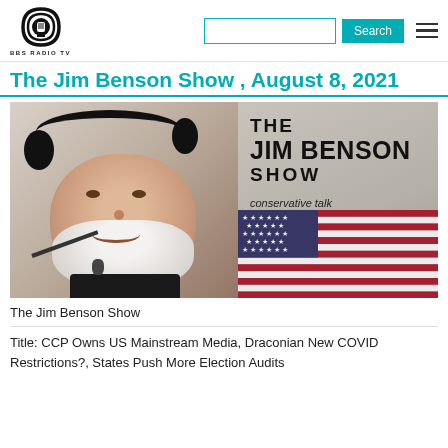BBS RADIO TV
The Jim Benson Show , August 8, 2021
[Figure (photo): The Jim Benson Show promotional image: a man wearing headphones and a microphone on the left, and on the right the show title 'THE JIM BENSON SHOW' with 'conservative talk' and an American flag in the background.]
The Jim Benson Show
Title: CCP Owns US Mainstream Media, Draconian New COVID Restrictions?, States Push More Election Audits